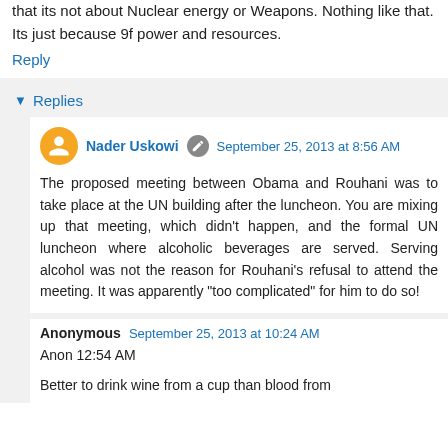that its not about Nuclear energy or Weapons. Nothing like that. Its just because 9f power and resources.
Reply
Replies
Nader Uskowi September 25, 2013 at 8:56 AM
The proposed meeting between Obama and Rouhani was to take place at the UN building after the luncheon. You are mixing up that meeting, which didn't happen, and the formal UN luncheon where alcoholic beverages are served. Serving alcohol was not the reason for Rouhani's refusal to attend the meeting. It was apparently "too complicated" for him to do so!
Anonymous September 25, 2013 at 10:24 AM
Anon 12:54 AM
Better to drink wine from a cup than blood from